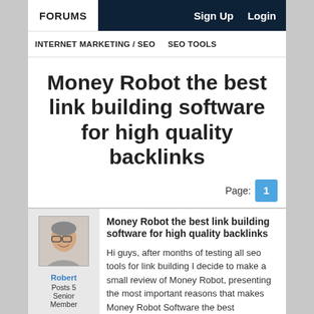FORUMS | Sign Up | Login
INTERNET MARKETING / SEO | SEO TOOLS
Money Robot the best link building software for high quality backlinks
Page: 1
Robert
Posts 5
Senior Member
Money Robot the best link building software for high quality backlinks
Hi guys, after months of testing all seo tools for link building I decide to make a small review of Money Robot, presenting the most important reasons that makes Money Robot Software the best